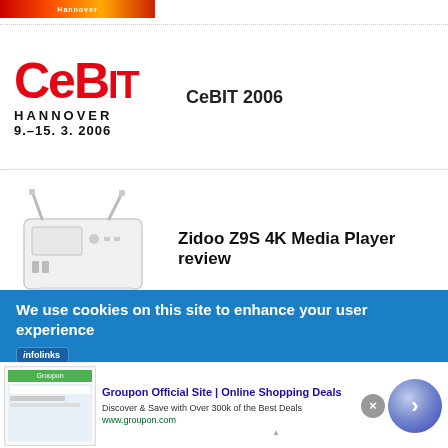[Figure (other): CeBIT Hannover banner strip at top of page]
[Figure (logo): CeBIT 2006 logo: large red CeBIT text, HANNOVER, 9.-15. 3. 2006]
CeBIT 2006
[Figure (photo): Zidoo Z9S 4K Media Player - white box device with antennas]
Zidoo Z9S 4K Media Player review
We use cookies on this site to enhance your user experience
[Figure (other): Groupon advertisement: Groupon Official Site | Online Shopping Deals. Discover & Save with Over 300k of the Best Deals. www.groupon.com]